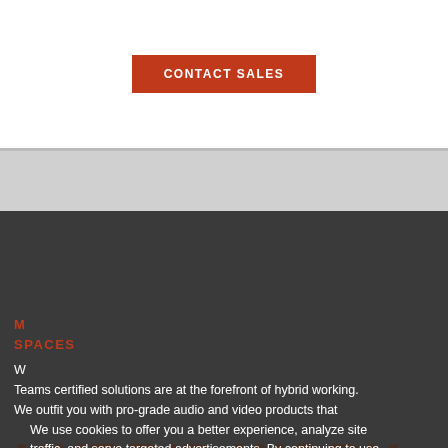[Figure (screenshot): CONTACT SALES button (orange/red background, white uppercase text) on white background, part of a webpage screenshot]
[Figure (screenshot): Dark gray webpage section showing large background text 'HYBRID WORK IS OUR MIDDLE NAME' with cookie consent overlay reading 'We use cookies to offer you a better experience, analyze site traffic, and serve targeted advertisements. By continuing to use this website, you consent to the use of cookies in accordance with our Cookie Policy.' with ACCEPT and MANAGE CHOICES buttons. Below overlay: reddish section headers 'MANAGE' and 'SPACES', body text beginning 'W... Teams certified solutions are at the forefront of hybrid working. We outfit you with pro-grade audio and video products that']